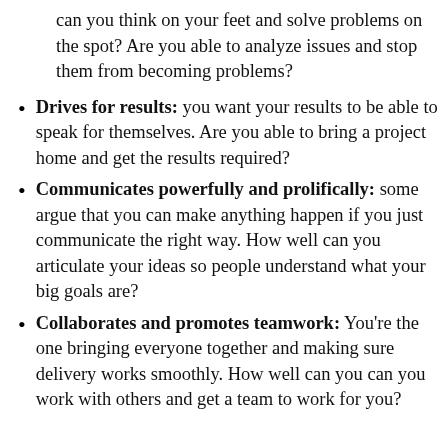can you think on your feet and solve problems on the spot? Are you able to analyze issues and stop them from becoming problems?
Drives for results: you want your results to be able to speak for themselves. Are you able to bring a project home and get the results required?
Communicates powerfully and prolifically: some argue that you can make anything happen if you just communicate the right way. How well can you articulate your ideas so people understand what your big goals are?
Collaborates and promotes teamwork: You're the one bringing everyone together and making sure delivery works smoothly. How well can you can you work with others and get a team to work for you?